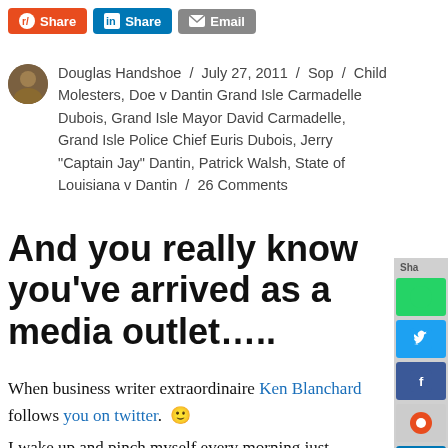[Figure (other): Social share buttons: Reddit Share (orange), LinkedIn Share (blue), Email (grey)]
Douglas Handshoe / July 27, 2011 / Sop / Child Molesters, Doe v Dantin Grand Isle Carmadelle Dubois, Grand Isle Mayor David Carmadelle, Grand Isle Police Chief Euris Dubois, Jerry "Captain Jay" Dantin, Patrick Walsh, State of Louisiana v Dantin / 26 Comments
And you really know you've arrived as a media outlet…..
When business writer extraordinaire Ken Blanchard follows you on twitter. 🙂
I wake up and pinch myself every morning just